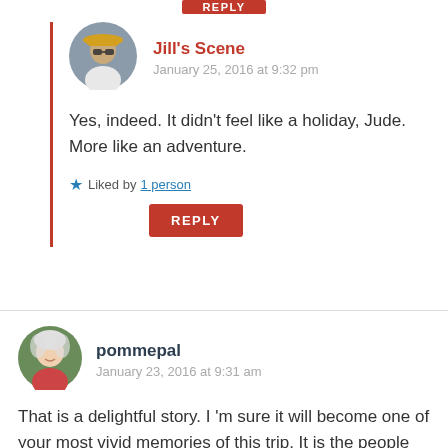[Figure (other): Partial red REPLY button visible at top of page]
[Figure (photo): Circular avatar photo of Jill's Scene commenter - woman with yellow hat and sunglasses]
Jill's Scene
January 25, 2016 at 9:32 pm
Yes, indeed. It didn't feel like a holiday, Jude. More like an adventure.
Liked by 1 person
REPLY
[Figure (photo): Circular avatar photo of pommepal commenter - older woman with white hair]
pommepal
January 23, 2016 at 9:31 am
That is a delightful story. I 'm sure it will become one of your most vivid memories of this trip. It is the people encounters that, to me, are always the highlight of a country. It warms my heart when in a